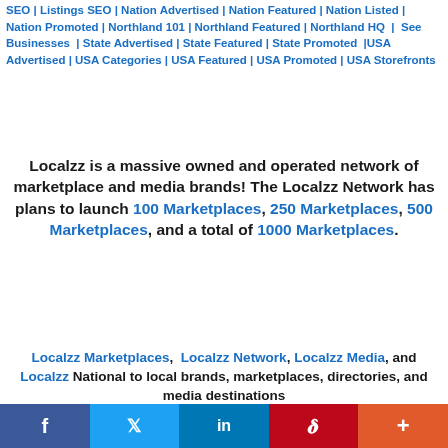SEO | Listings SEO | Nation Advertised | Nation Featured | Nation Listed | Nation Promoted | Northland 101 | Northland Featured | Northland HQ | See Businesses | State Advertised | State Featured | State Promoted | USA Advertised | USA Categories | USA Featured | USA Promoted | USA Storefronts
Localzz is a massive owned and operated network of marketplace and media brands! The Localzz Network has plans to launch 100 Marketplaces, 250 Marketplaces, 500 Marketplaces, and a total of 1000 Marketplaces.
Localzz Marketplaces, Localzz Network, Localzz Media, and Localzz National to local brands, marketplaces, directories, and media destinations Localzz | Localzz Network | Localzz Media | Localzz Marketplaces | Localzz.us | Listingzz.us LOCAL and NATIONAL INFORMATION NETWORK |
[Figure (infographic): Social media share bar with Facebook, Twitter, LinkedIn, Pinterest, and More buttons]